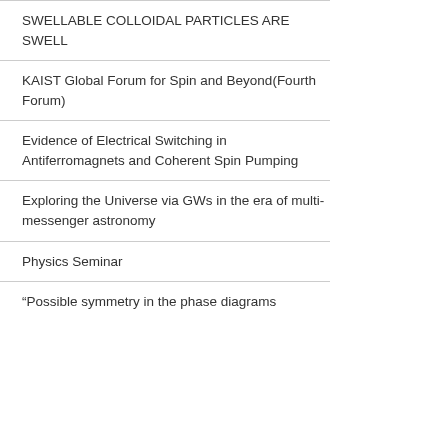SWELLABLE COLLOIDAL PARTICLES ARE SWELL
KAIST Global Forum for Spin and Beyond(Fourth Forum)
Evidence of Electrical Switching in Antiferromagnets and Coherent Spin Pumping
Exploring the Universe via GWs in the era of multi-messenger astronomy
Physics Seminar
“Possible symmetry in the phase diagrams